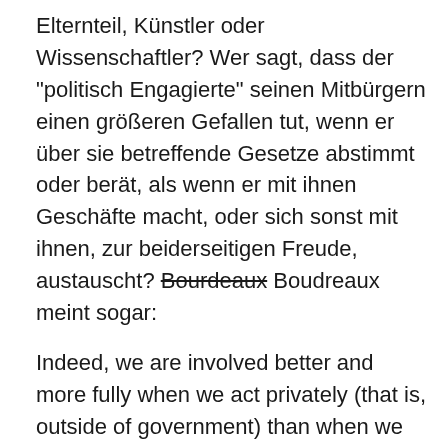Elternteil, Künstler oder Wissenschaftler? Wer sagt, dass der "politisch Engagierte" seinen Mitbürgern einen größeren Gefallen tut, wenn er über sie betreffende Gesetze abstimmt oder berät, als wenn er mit ihnen Geschäfte macht, oder sich sonst mit ihnen, zur beiderseitigen Freude, austauscht? Bourdeaux Boudreaux meint sogar:
Indeed, we are involved better and more fully when we act privately (that is, outside of government) than when we act politically.
Acting privately, none of us intrudes without invitation into other people's affairs.
Der politisch Involvierte hat – so die libertäre Ansicht – den unangenehmen psychologischen Grundansatz, dass es ihm persönlich anstehe, anderen zu sagen, was sie zu tun